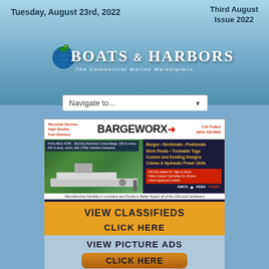Tuesday, August 23rd, 2022
Third August Issue 2022
[Figure (logo): Boats & Harbors logo with globe and duck, tagline: The Commercial Marine Marketplace]
Navigate to...
[Figure (photo): Bargeworx advertisement banner showing aluminum crane barge, services including Barges, Sectionals, Pushboats, Work Floats, Truckable Tugs, Custom and Existing Designs, Cranes & Hydraulic Power Units. Phone: (904) 418-0061, email: sales@bargeworx.com, website: www.bargeworx.com]
VIEW CLASSIFIEDS

CLICK HERE
VIEW PICTURE ADS
CLICK HERE